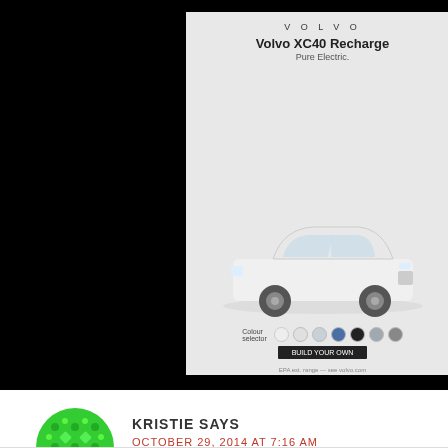[Figure (screenshot): Volvo XC40 Recharge Pure Electric advertisement banner showing a white SUV with color selector options and a call-to-action button, on a gray background]
KRISTIE SAYS
OCTOBER 29, 2014 AT 7:16 AM
I would probably make a basic jacket. My 7 year old never has jackets that reach her bum, let alone her wrists.
Reply